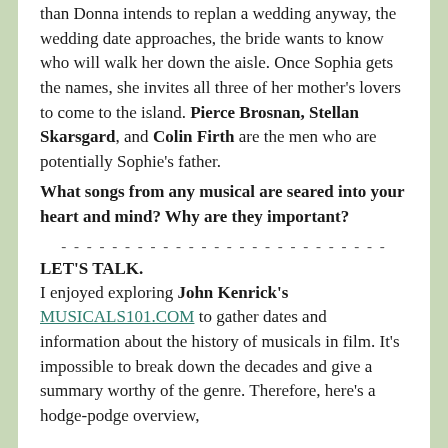than Donna intends to replan a wedding anyway, the wedding date approaches, the bride wants to know who will walk her down the aisle. Once Sophia gets the names, she invites all three of her mother's lovers to come to the island. Pierce Brosnan, Stellan Skarsgard, and Colin Firth are the men who are potentially Sophie's father.
What songs from any musical are seared into your heart and mind? Why are they important?
- - - - - - - - - - - - - - - - - - - - - - - - - -
LET'S TALK.
I enjoyed exploring John Kenrick's MUSICALS101.COM to gather dates and information about the history of musicals in film. It's impossible to break down the decades and give a summary worthy of the genre. Therefore, here's a hodge-podge overview,